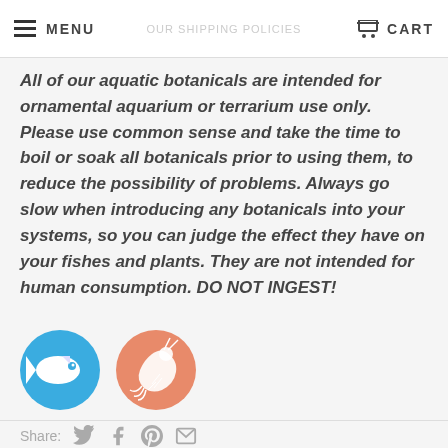MENU  |  CART
All of our aquatic botanicals are intended for ornamental aquarium or terrarium use only. Please use common sense and take the time to boil or soak all botanicals prior to using them, to reduce the possibility of problems. Always go slow when introducing any botanicals into your systems, so you can judge the effect they have on your fishes and plants. They are not intended for human consumption. DO NOT INGEST!
[Figure (logo): Two circular icons: a blue circle with a white angelfish silhouette, and a salmon/orange circle with a white shrimp silhouette]
Share: